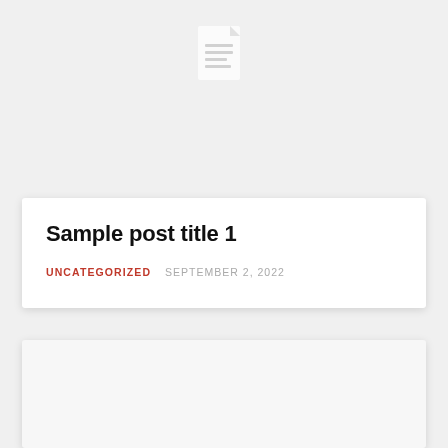[Figure (illustration): A white document/file icon on a light gray background, centered at top of page. The icon shows a page with a folded corner and horizontal lines suggesting text content.]
Sample post title 1
UNCATEGORIZED   SEPTEMBER 2, 2022